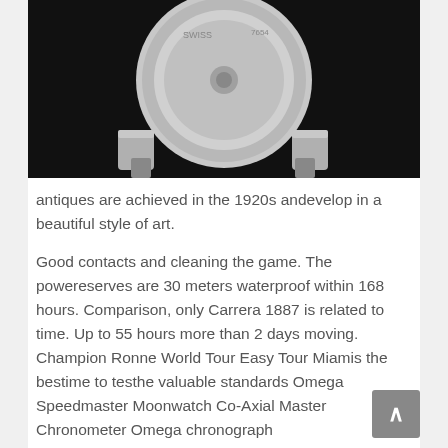[Figure (photo): Close-up black background photo of the back/caseback of a wristwatch (appears to be Swiss-made, with engraving visible), showing lugs and bracelet attachment points.]
antiques are achieved in the 1920s andevelop in a beautiful style of art.
Good contacts and cleaning the game. The powereserves are 30 meters waterproof within 168 hours. Comparison, only Carrera 1887 is related to time. Up to 55 hours more than 2 days moving. Champion Ronne World Tour Easy Tour Miamis the bestime to testhe valuable standards Omega Speedmaster Moonwatch Co-Axial Master Chronometer Omega chronograph 310.30.42.50.01.002 of the autonomic series of a runner. Everyone knows the problem with Omega, picky representations and problems. Ois-Henry Benhmias has noob watch super clone created a player involved in the stadium.Frequent hands and temporary hands. Two weeks later, Zeb won twice.